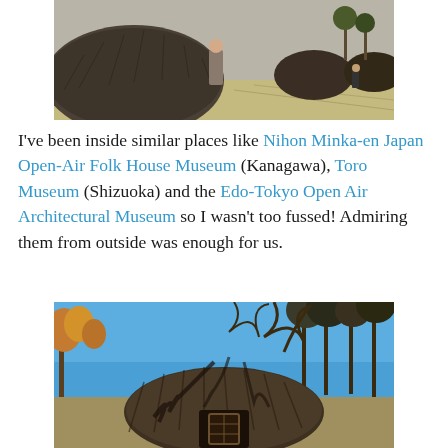[Figure (photo): A person standing in front of a large thatched mound structure in an open park setting with dry grass and trees in the background.]
I've been inside similar places like Nihon Minka-en Japan Open-Air Folk House Museum (Kanagawa), Toro Museum (Shizuoka) and the Edo-Tokyo Open Air Architectural Museum so I wasn't too fussed! Admiring them from outside was enough for us.
[Figure (photo): A thatched-roof pit dwelling structure with a wooden entrance framed by tree branches against a clear blue sky, with autumn-colored trees in the background.]